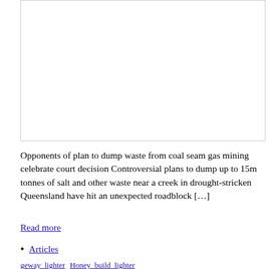[Figure (other): Empty white rectangular image placeholder with thin border]
Opponents of plan to dump waste from coal seam gas mining celebrate court decision Controversial plans to dump up to 15m tonnes of salt and other waste near a creek in drought-stricken Queensland have hit an unexpected roadblock […]
Read more
Articles
geway_lighter   Honey_build_lighter